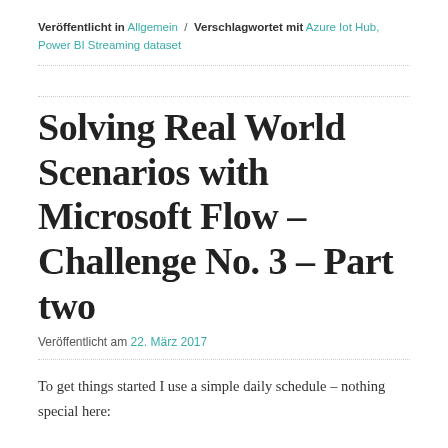Veröffentlicht in Allgemein / Verschlagwortet mit Azure Iot Hub, Power BI Streaming dataset
Solving Real World Scenarios with Microsoft Flow – Challenge No. 3 – Part two
Veröffentlicht am 22. März 2017
To get things started I use a simple daily schedule – nothing special here: